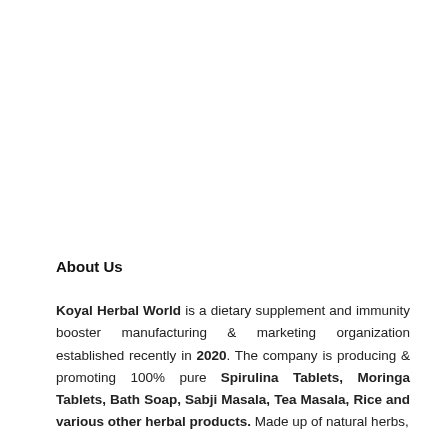About Us
Koyal Herbal World is a dietary supplement and immunity booster manufacturing & marketing organization established recently in 2020. The company is producing & promoting 100% pure Spirulina Tablets, Moringa Tablets, Bath Soap, Sabji Masala, Tea Masala, Rice and various other herbal products. Made up of natural herbs,